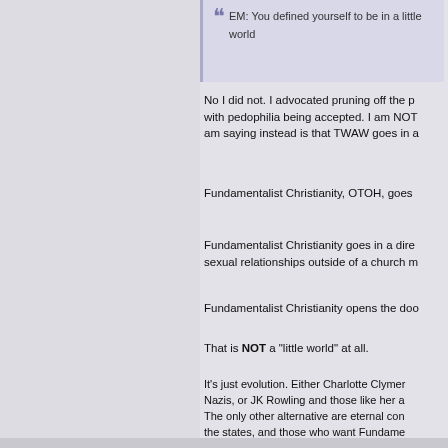EM: You defined yourself to be in a little world
No I did not. I advocated pruning off the p... with pedophilia being accepted. I am NOT... am saying instead is that TWAW goes in a...
Fundamentalist Christianity, OTOH, goes...
Fundamentalist Christianity goes in a dire... sexual relationships outside of a church m...
Fundamentalist Christianity opens the doo...
That is NOT a "little world" at all.
It's just evolution. Either Charlotte Clymer... Nazis, or JK Rowling and those like her a... The only other alternative are eternal con... the states, and those who want Fundame...
Broad is the way to destruction according... leads to life instead. That path severely re...